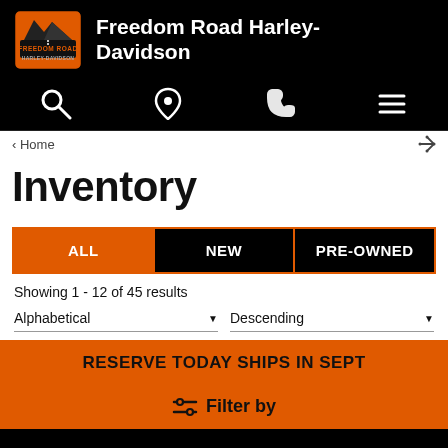Freedom Road Harley-Davidson
[Figure (logo): Freedom Road Harley-Davidson logo with mountain road graphic]
Inventory
ALL | NEW | PRE-OWNED
Showing 1 - 12 of 45 results
Alphabetical ▼   Descending ▼
RESERVE TODAY SHIPS IN SEPT
Filter by